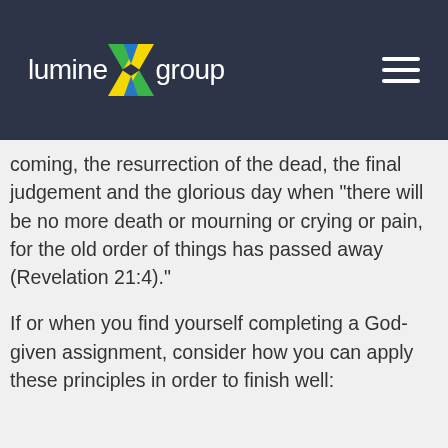lumineX group
coming, the resurrection of the dead, the final judgement and the glorious day when “there will be no more death or mourning or crying or pain, for the old order of things has passed away (Revelation 21:4).”
If or when you find yourself completing a God-given assignment, consider how you can apply these principles in order to finish well: